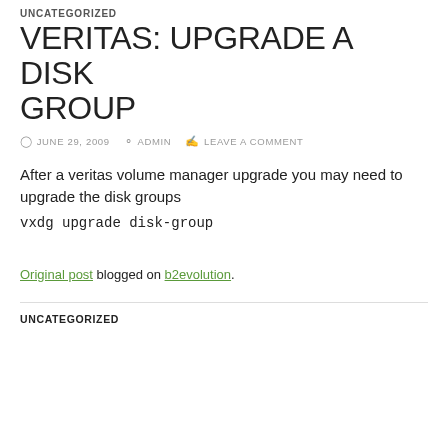UNCATEGORIZED
VERITAS: UPGRADE A DISK GROUP
JUNE 29, 2009   ADMIN   LEAVE A COMMENT
After a veritas volume manager upgrade you may need to upgrade the disk groups
vxdg upgrade disk-group
Original post blogged on b2evolution.
UNCATEGORIZED